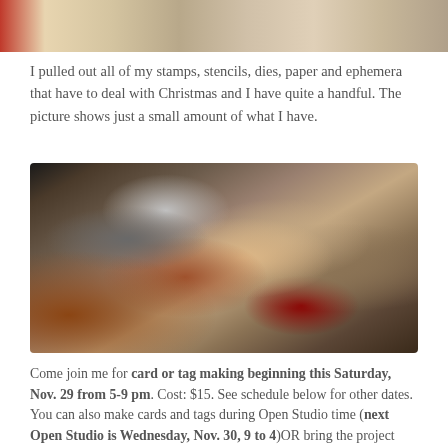[Figure (photo): Top portion of a photo showing Christmas crafting supplies on a table]
I pulled out all of my stamps, stencils, dies, paper and ephemera that have to deal with Christmas and I have quite a handful.  The picture shows just a small amount of what I have.
[Figure (photo): Photo of a table covered with Christmas stamps, stencils, dies, papers, and ephemera crafting supplies spread out]
Come join me for card or tag making beginning this Saturday, Nov. 29 from 5-9 pm.  Cost: $15.  See schedule below for other dates.  You can also make cards and tags during Open Studio time (next Open Studio is Wednesday, Nov. 30, 9 to 4)OR bring the project that you're having trouble completing and do it at the workshop where other tasks aren't calling your name!